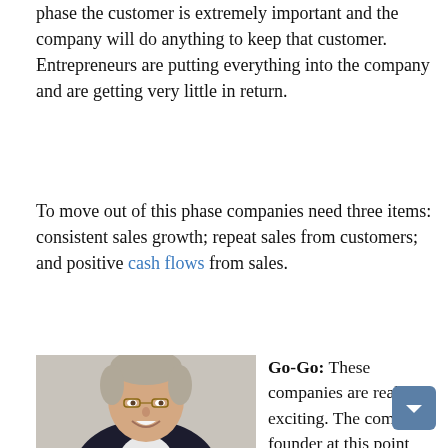phase the customer is extremely important and the company will do anything to keep that customer. Entrepreneurs are putting everything into the company and are getting very little in return.
To move out of this phase companies need three items: consistent sales growth; repeat sales from customers; and positive cash flows from sales.
[Figure (photo): Portrait photo of a middle-aged man with grey hair and glasses, wearing a dark blazer and white shirt, smiling.]
Go-Go: These companies are really exciting. The company founder at this point tends to become overly inflated. At this phase, the company is opportunity driven. The founder sees opportunities everywhere and this result